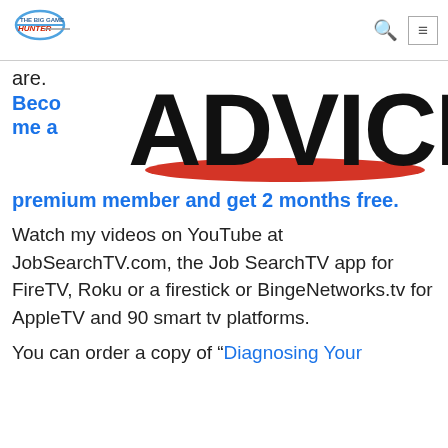THE BIG GAME HUNTER
are.
[Figure (logo): Bold text logo reading ADVICE in black with red shadow/underline accent]
Become a premium member and get 2 months free.
Watch my videos on YouTube at JobSearchTV.com, the Job SearchTV app for FireTV, Roku or a firestick or BingeNetworks.tv for AppleTV and 90 smart tv platforms.
You can order a copy of “Diagnosing Your